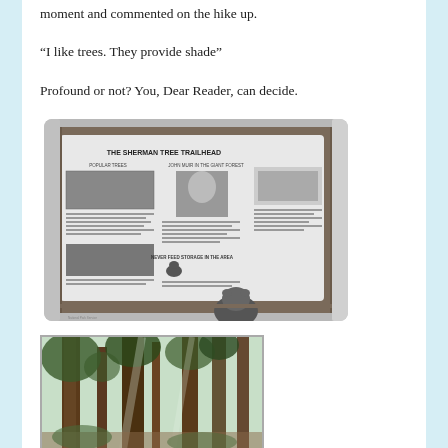moment and commented on the hike up.
“I like trees. They provide shade”
Profound or not? You, Dear Reader, can decide.
[Figure (photo): Black and white photo of The Sherman Tree Trailhead informational sign board displayed under a wooden structure, with a bear visible at the bottom corner.]
[Figure (photo): Color photo of giant sequoia trees in a forest with light filtering through the canopy.]